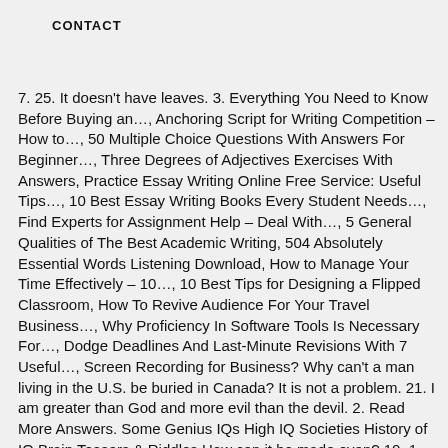CONTACT
7. 25. It doesn't have leaves. 3. Everything You Need to Know Before Buying an…, Anchoring Script for Writing Competition – How to…, 50 Multiple Choice Questions With Answers For Beginner…, Three Degrees of Adjectives Exercises With Answers, Practice Essay Writing Online Free Service: Useful Tips…, 10 Best Essay Writing Books Every Student Needs…, Find Experts for Assignment Help – Deal With…, 5 General Qualities of The Best Academic Writing, 504 Absolutely Essential Words Listening Download, How to Manage Your Time Effectively – 10…, 10 Best Tips for Designing a Flipped Classroom, How To Revive Audience For Your Travel Business…, Why Proficiency In Software Tools Is Necessary For…, Dodge Deadlines And Last-Minute Revisions With 7 Useful…, Screen Recording for Business? Why can't a man living in the U.S. be buried in Canada? It is not a problem. 21. I am greater than God and more evil than the devil. 2. Read More Answers. Some Genius IQs High IQ Societies History of IQ Brain Teasers & Riddles How can it be made even? 10. 1 hour. if you take a pill at one o clock